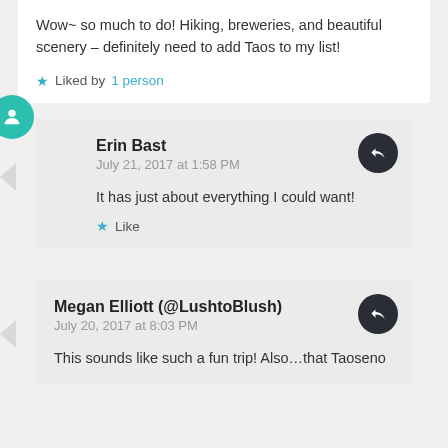Wow~ so much to do! Hiking, breweries, and beautiful scenery – definitely need to add Taos to my list!
Liked by 1 person
Erin Bast
July 21, 2017 at 1:58 PM
It has just about everything I could want!
Like
Megan Elliott (@LushtoBlush)
July 20, 2017 at 8:03 PM
This sounds like such a fun trip! Also...that Taoseno